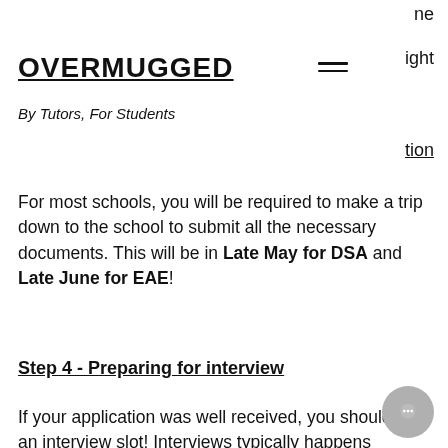OVERMUGGED
By Tutors, For Students
ne
ight
tion
For most schools, you will be required to make a trip down to the school to submit all the necessary documents. This will be in Late May for DSA and Late June for EAE!
Step 4 - Preparing for interview
If your application was well received, you should get an interview slot! Interviews typically happens between July - September.
In some cases for sports and performing arts, you might also be